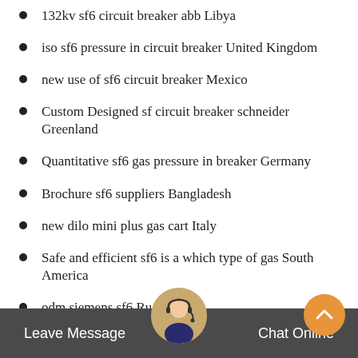132kv sf6 circuit breaker abb Libya
iso sf6 pressure in circuit breaker United Kingdom
new use of sf6 circuit breaker Mexico
Custom Designed sf circuit breaker schneider Greenland
Quantitative sf6 gas pressure in breaker Germany
Brochure sf6 suppliers Bangladesh
new dilo mini plus gas cart Italy
Safe and efficient sf6 is a which type of gas South America
odm siemens sf6 Russia
schneider electric sf6 Germany
110kv sf6 circuit breaker electrical4u Canada
develop sf 6 is Denmark
Brochure sf6 gas servicing e... t United Kingdom
odm pure sf6 gas is
Leave Message   Chat Online